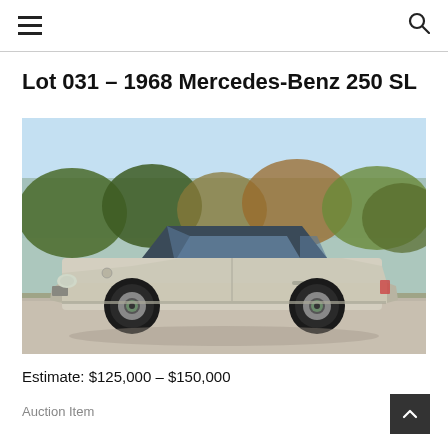≡  🔍
Lot 031 – 1968 Mercedes-Benz 250 SL
[Figure (photo): 1968 Mercedes-Benz 250 SL in silver/champagne color with a dark hardtop, photographed outdoors on a parking lot with autumn trees in the background.]
Estimate: $125,000 – $150,000